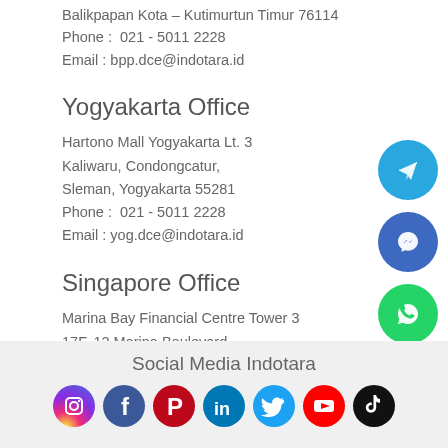Balikpapan Kota – Kutai Kartanegara Timur 76114
Phone :  021 - 5011 2228
Email : bpp.dce@indotara.id
Yogyakarta Office
Hartono Mall Yogyakarta Lt. 3
Kaliwaru, Condongcatur,
Sleman, Yogyakarta 55281
Phone :  021 - 5011 2228
Email : yog.dce@indotara.id
Singapore Office
Marina Bay Financial Centre Tower 3
17F, 12 Marina Boulevard
Singapore - 018982
Phone : 021 - 5011 2228
Email : sing.dce@indotara.id
[Figure (illustration): Telegram floating icon button (blue circle)]
[Figure (illustration): Facebook Messenger floating icon button (blue-purple circle)]
[Figure (illustration): WhatsApp floating icon button (green circle)]
Social Media Indotara
[Figure (illustration): Social media icons row: Instagram, Facebook, Pinterest, LinkedIn, Twitter, YouTube, TikTok]